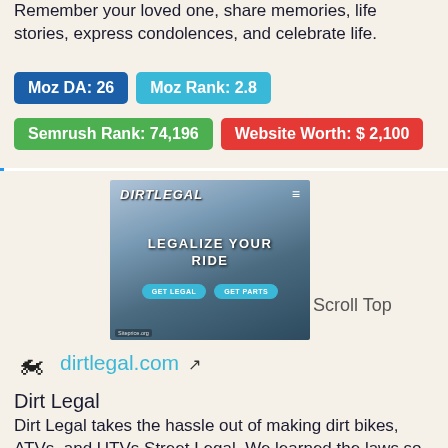Remember your loved one, share memories, life stories, express condolences, and celebrate life.
Moz DA: 26
Moz Rank: 2.8
Semrush Rank: 74,196
Website Worth: $ 2,100
[Figure (screenshot): Screenshot of dirtlegal.com website showing DIRTLEGAL logo, hamburger menu, mountain/bike background image, LEGALIZE YOUR RIDE slogan, and GET LEGAL / GET PARTS buttons. Watermark: Siteprice.org]
Scroll Top
[Figure (logo): Motorcyclist/dirt bike rider icon (small black silhouette)]
dirtlegal.com ↗
Dirt Legal
Dirt Legal takes the hassle out of making dirt bikes, ATVs, and UTVs Street Legal. We learned the laws so